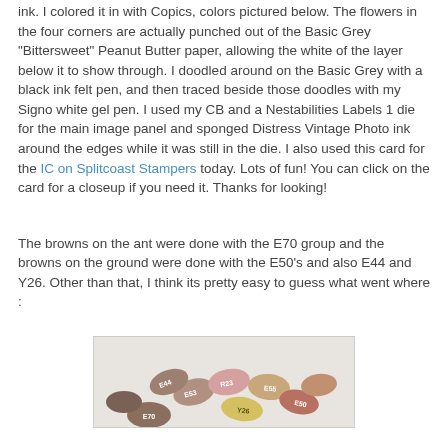ink. I colored it in with Copics, colors pictured below. The flowers in the four corners are actually punched out of the Basic Grey "Bittersweet" Peanut Butter paper, allowing the white of the layer below it to show through. I doodled around on the Basic Grey with a black ink felt pen, and then traced beside those doodles with my Signo white gel pen. I used my CB and a Nestabilities Labels 1 die for the main image panel and sponged Distress Vintage Photo ink around the edges while it was still in the die. I also used this card for the IC on Splitcoast Stampers today. Lots of fun! You can click on the card for a closeup if you need it. Thanks for looking!
The browns on the ant were done with the E70 group and the browns on the ground were done with the E50's and also E44 and Y26. Other than that, I think its pretty easy to guess what went where :
[Figure (photo): Photo of several Copic marker caps arranged in a group, showing marker codes such as E53, E55, E70, Y26, and others in brown, pink, and yellow colors.]